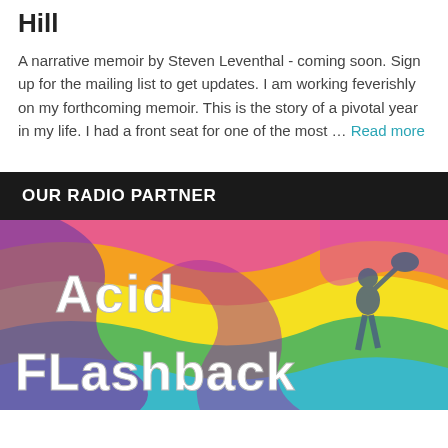Hill
A narrative memoir by Steven Leventhal - coming soon. Sign up for the mailing list to get updates. I am working feverishly on my forthcoming memoir. This is the story of a pivotal year in my life. I had a front seat for one of the most … Read more
OUR RADIO PARTNER
[Figure (illustration): Acid Flashback psychedelic radio banner with colorful swirling background in pink, orange, yellow, green, blue, purple. Text reads 'Acid Flashback' in large white retro groovy font. Silhouette of a musician playing guitar on the right side.]